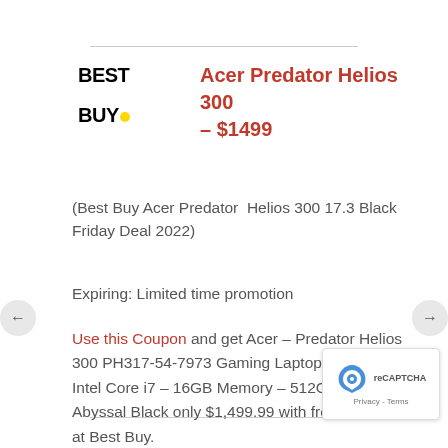[Figure (logo): Best Buy logo with yellow dot]
Acer Predator Helios 300 – $1499
(Best Buy Acer Predator  Helios 300 17.3 Black Friday Deal 2022)
Expiring: Limited time promotion
Use this Coupon and get Acer – Predator Helios 300 PH317-54-7973 Gaming Laptop – 10th Gen Intel Core i7 – 16GB Memory – 512GB SSD – Abyssal Black only $1,499.99 with free shipping at Best Buy.